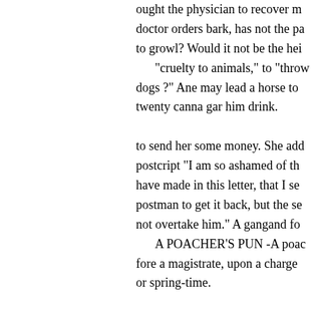ought the physician to recover m... doctor orders bark, has not the pa... to growl? Would it not be the hei... "cruelty to animals," to "throw... dogs ?" Ane may lead a horse to... twenty canna gar him drink.

to send her some money. She add... postcript "I am so ashamed of th... have made in this letter, that I se... postman to get it back, but the se... not overtake him." A gangand fo...

A POACHER'S PUN -A poac... fore a magistrate, upon a charge ... or spring-time.

unlawfully in a nobleman's park,...

caught in the fact. Being asked w... say in his defence, and what pro... support it, he replied, — May it p... your worship, I know and confes...